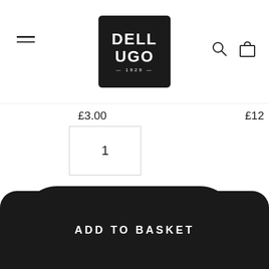[Figure (logo): Dell'Ugo 1929 logo, white text on black rounded square background]
[Figure (other): Hamburger menu icon (three horizontal lines) on left, search and bag icons on right]
£3.00
£12
1
1
1
ADD TO BASKET
ADD TO BASKET
ADD BAS
ADD TO BASKET